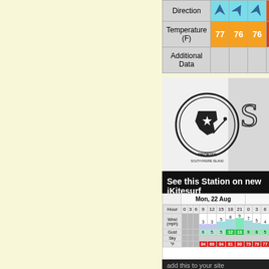|  | Direction | Temperature (F) | Additional Data |
| --- | --- | --- | --- |
| Direction |  |  |  |
| Temperature (F) | 77 | 76 | 76 |
| Additional Data |  |  |  |
[Figure (logo): ProKite South Padre Island logo]
See this Station on new iKitesurf
| Hour | 0 | 3 | 6 | 9 | 12 | 15 | 18 | 21 | 0 | 3 |
| --- | --- | --- | --- | --- | --- | --- | --- | --- | --- | --- |
| Wind (mph) |  |  |  | 3 | 3 | 5 | 8 | 9 | 7 | 5 |
| Gust |  |  |  | 6 | 5 | 5 | 12 | 13 | 9 | 8 |
| Sky |  |  |  |  |  |  |  |  |  |  |
| °F |  |  |  | 84 | 86 | 84 | 81 | 80 | 79 | 79 |
Mon, 22 Aug
add this to your site